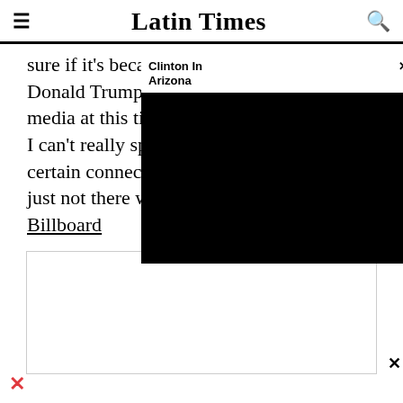Latin Times
sure if it's because Donald Trump jus media at this time. I can't really speak certain connection just not there with Donald Trump." - Billboard
[Figure (screenshot): Popup video widget overlay with title 'Clinton In Arizona' and black video player area with close (x) button]
[Figure (other): Advertisement box with border, close button on right side]
[Figure (logo): Red X / Twitter/social icon at bottom left of page]